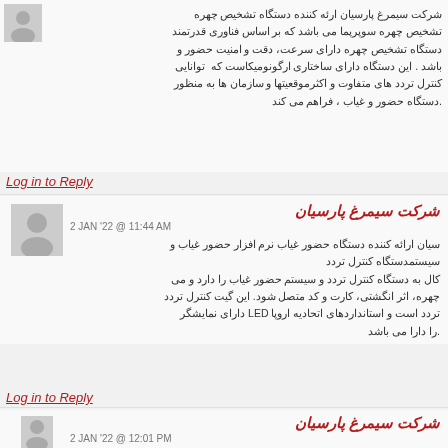شرکت سیمرغ پارسیان ارئه کننده دستگاه تشخیص چهره تشخیص چهره سویرپما می باشد که بر اساس فناوری قدرتمند دستگاه تشخیص چهره دارای سرعت، دقت و امنیت حضور و باشد . این دستگاه دارای ساختاری ارگونومیکاست که توانایی کنترل تردد های متفاوت و اکثرموقعیتها و سازمان ها به منظور دستگاه حضور و غیاب ، فراهم می کند .
Log in to Reply
شرکت سیمرغ پارسیان
2 JAN '22 @ 11:44 AM
سیان ارائه کننده دستگاه حضور غیاب نرم افزار حضور غیاب و سیستمدستگاه کنترل تردد کال به دستگاه کنترل تردد و سیستم حضور غیاب را دارد و می چهره، اثر انگشتی، کارت و کد متصل شود. این گیت کنترل تردد تردد است و استاندارد‌های اتحادیه اروپا LED دارای نمایشگر را دارا می باشد .
Log in to Reply
شرکت سیمرغ پارسیان
2 JAN '22 @ 12:01 PM